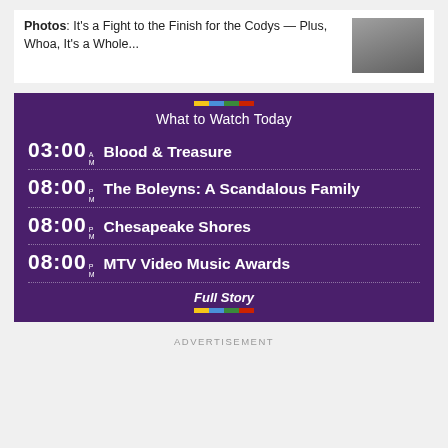Photos: It's a Fight to the Finish for the Codys — Plus, Whoa, It's a Whole...
[Figure (photo): A person in a dark jacket, partial view]
What to Watch Today
03:00 AM  Blood & Treasure
08:00 PM  The Boleyns: A Scandalous Family
08:00 PM  Chesapeake Shores
08:00 PM  MTV Video Music Awards
Full Story
ADVERTISEMENT